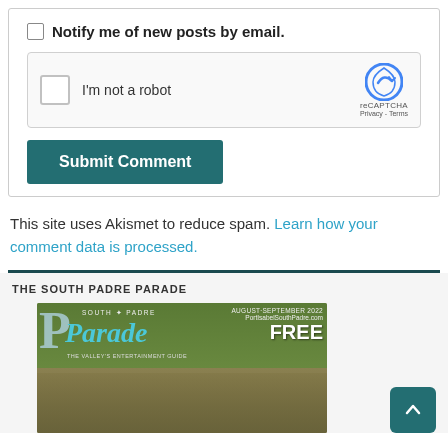Notify me of new posts by email.
[Figure (screenshot): reCAPTCHA widget with checkbox labeled 'I'm not a robot' and reCAPTCHA logo with Privacy and Terms links]
Submit Comment
This site uses Akismet to reduce spam. Learn how your comment data is processed.
THE SOUTH PADRE PARADE
[Figure (photo): South Padre Parade magazine cover for August-September 2022 featuring an alligator photo, with text 'South Padre Parade - The Valley's Entertainment Guide', 'FREE', 'PortIsabelSouthPadre.com']